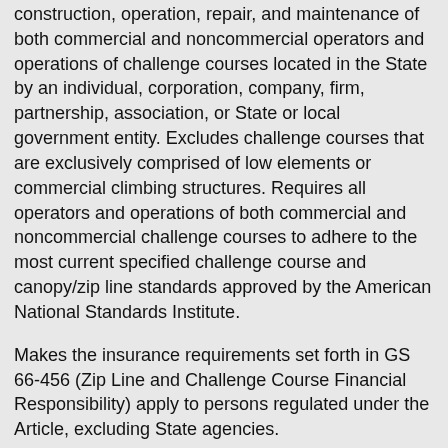construction, operation, repair, and maintenance of both commercial and noncommercial operators and operations of challenge courses located in the State by an individual, corporation, company, firm, partnership, association, or State or local government entity. Excludes challenge courses that are exclusively comprised of low elements or commercial climbing structures. Requires all operators and operations of both commercial and noncommercial challenge courses to adhere to the most current specified challenge course and canopy/zip line standards approved by the American National Standards Institute.
Makes the insurance requirements set forth in GS 66-456 (Zip Line and Challenge Course Financial Responsibility) apply to persons regulated under the Article, excluding State agencies.
Requires that all new construction and major modifications, as defined, of challenge courses be built by a qualified person, as defined, or a competent person supervised by a qualified person, and meet all applicable challenge course and canopy/zip line tour standards. Requires the operator to provide documentation in the form of an acceptance inspection performed by a professional inspector for verification prior to the commencement of operations of newly constructed challenge courses or major modifications